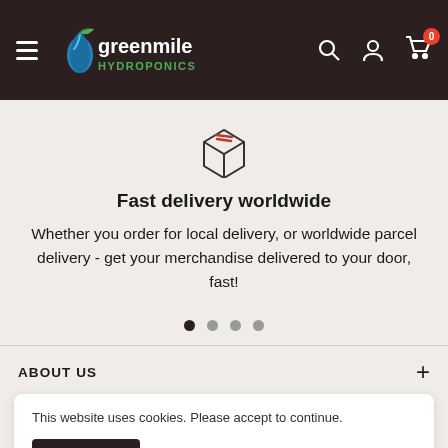greenmile HYDROPONICS - navigation header with hamburger, logo, search, account, cart (0)
[Figure (illustration): Box/package icon outline with diagonal top panel lines]
Fast delivery worldwide
Whether you order for local delivery, or worldwide parcel delivery - get your merchandise delivered to your door, fast!
[Figure (other): Pagination dots: 4 dots, first one filled/dark, rest lighter]
ABOUT US
This website uses cookies. Please accept to continue.
Accept
NEWSLETTER